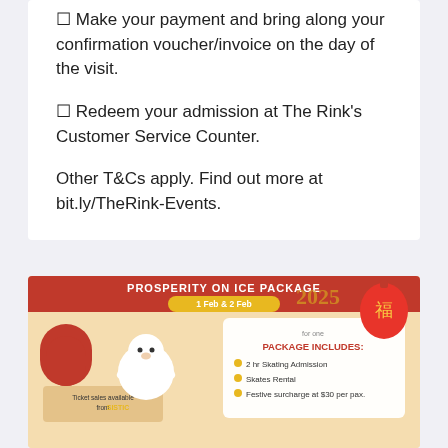⬜ Make your payment and bring along your confirmation voucher/invoice on the day of the visit.
⬜ Redeem your admission at The Rink's Customer Service Counter.
Other T&Cs apply. Find out more at bit.ly/TheRink-Events.
[Figure (infographic): Prosperity on Ice Package promotional banner with a cartoon polar bear character, showing package details including 2 hr Skating Admission, Skates Rental, Festive surcharge at $30 per pax. Dates: 1 Feb & 2 Feb. Ticket sales available from SISTIC. Red and orange color scheme with Chinese New Year decorations.]